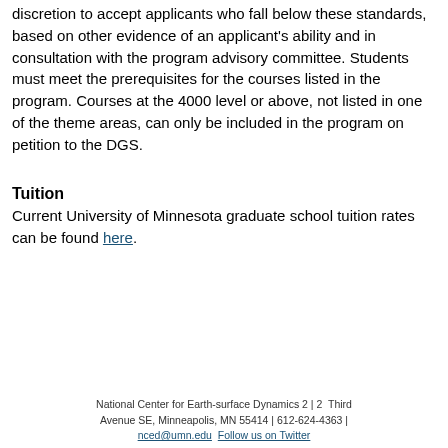discretion to accept applicants who fall below these standards, based on other evidence of an applicant's ability and in consultation with the program advisory committee. Students must meet the prerequisites for the courses listed in the program. Courses at the 4000 level or above, not listed in one of the theme areas, can only be included in the program on petition to the DGS.
Tuition
Current University of Minnesota graduate school tuition rates can be found here.
National Center for Earth-surface Dynamics 2 | 2  Third Avenue SE, Minneapolis, MN 55414 | 612-624-4363 | nced@umn.edu  Follow us on Twitter